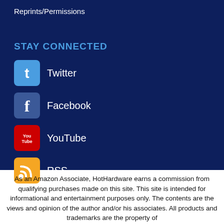Reprints/Permissions
STAY CONNECTED
Twitter
Facebook
YouTube
RSS
As an Amazon Associate, HotHardware earns a commission from qualifying purchases made on this site. This site is intended for informational and entertainment purposes only. The contents are the views and opinion of the author and/or his associates. All products and trademarks are the property of